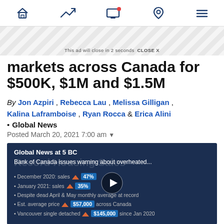Navigation bar with icons: home, trending, monitor/notification, location, menu
This ad will close in 2 seconds  CLOSE X
markets across Canada for $500K, $1M and $1.5M
By Jon Azpiri , Rebecca Lau , Melissa Gilligan , Kalina Laframboise , Ryan Rocca & Erica Alini • Global News
Posted March 20, 2021 7:00 am
[Figure (screenshot): Video thumbnail showing Global News at 5 BC segment about Bank of Canada warning about overheated housing with bullet points: December 2020: sales up 47%, January 2021: sales up 35%, Despite dead April & May monthly average at record, Est. average price up $57,000 across Canada, Vancouver single detached up $145,000 since Jan 2020]